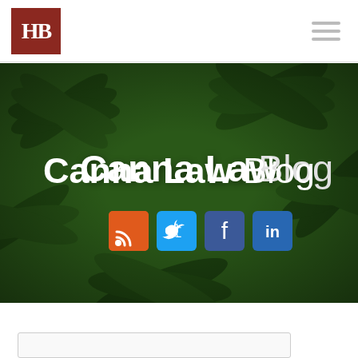[Figure (logo): HB law firm logo - dark red square with white HB letters]
[Figure (infographic): Canna Law Blog hero banner with cannabis leaf background, bold white title 'Canna Law Blog' and social media icons (RSS, Twitter, Facebook, LinkedIn)]
[Figure (screenshot): White bottom section with partial search bar visible at bottom]